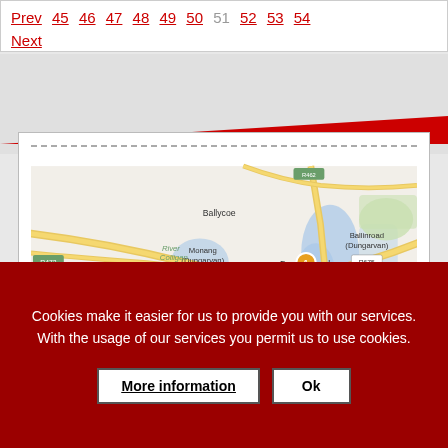Prev 45 46 47 48 49 50 51 52 53 54 Next
[Figure (map): Street map showing Dungarvan area including locations: Ballycoe, Monang (Dungarvan), Ballinroad (Dungarvan), River Colligan, Westgate Business Park, Kilrush Dungarvan Business Industrial Estate, Ballinamuck, Scart (Dungarvan), Dun...pool with orange marker labeled 1. Roads R672, R675 visible.]
Cookies make it easier for us to provide you with our services. With the usage of our services you permit us to use cookies.
More information
Ok